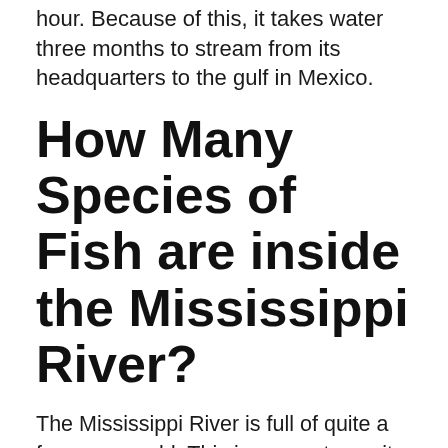hour. Because of this, it takes water three months to stream from its headquarters to the gulf in Mexico.
How Many Species of Fish are inside the Mississippi River?
The Mississippi River is full of quite a few pure world. This incorporates quite a few mammals, birds, reptiles, bugs, and sea creatures. In step with the Wisconsin Authorities, the river is residence to over 119 species of fish akin to Asian carp, smallmouth basses, and bluegills.